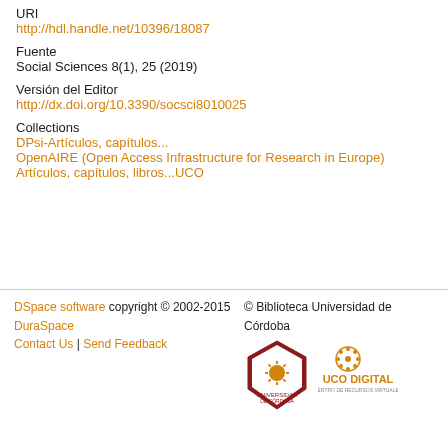URI
http://hdl.handle.net/10396/18087
Fuente
Social Sciences 8(1), 25 (2019)
Versión del Editor
http://dx.doi.org/10.3390/socsci8010025
Collections
DPsi-Artículos, capítulos...
OpenAIRE (Open Access Infrastructure for Research in Europe)
Artículos, capítulos, libros...UCO
DSpace software copyright © 2002-2015  DuraSpace  Contact Us | Send Feedback  © Biblioteca Universidad de Córdoba